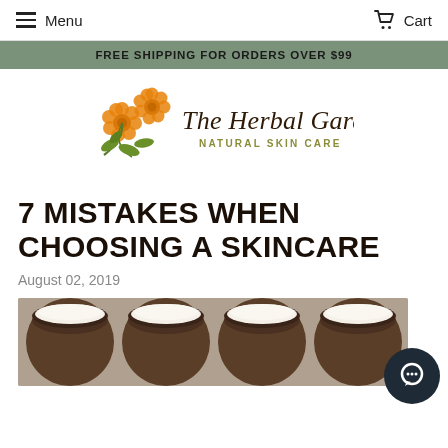Menu   Cart
FREE SHIPPING FOR ORDERS OVER $99
[Figure (logo): The Herbal Gardener Natural Skin Care logo with orange marigold flowers and script/serif text]
7 MISTAKES WHEN CHOOSING A SKINCARE
August 02, 2019
[Figure (photo): Row of open amber glass skincare jars with white cream, viewed from above]